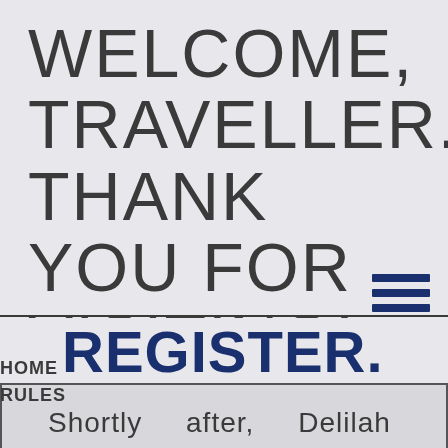WELCOME, TRAVELLER. THANK YOU FOR VISITING! PLEASE LOGIN OR REGISTER.
HOME
RULES Shortly after, Delilah